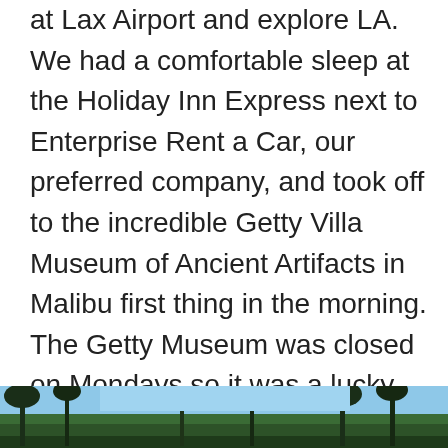at Lax Airport and explore LA. We had a comfortable sleep at the Holiday Inn Express next to Enterprise Rent a Car, our preferred company, and took off to the incredible Getty Villa Museum of Ancient Artifacts in Malibu first thing in the morning. The Getty Museum was closed on Mondays so it was a lucky alternative to visit the Getty Villa, which is an absolute must-see. We then headed to the Santa Monica Pier for lunch at Bubba Gumps and to stick my toe in the Pacific Ocean. To cap off the day, we cruised over to the uber funky Venice (muscle) Beach, to see the local action.
[Figure (photo): Partial view of a tropical outdoor scene with blue sky and palm tree silhouettes, appearing at the bottom of the page]